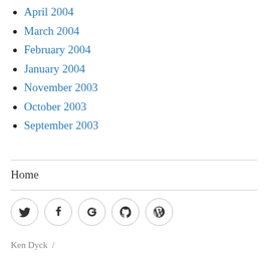April 2004
March 2004
February 2004
January 2004
November 2003
October 2003
September 2003
Home
[Figure (other): Social media icons: Twitter, Facebook, Google+, GitHub, WordPress — each in a circle border]
Ken Dyck /